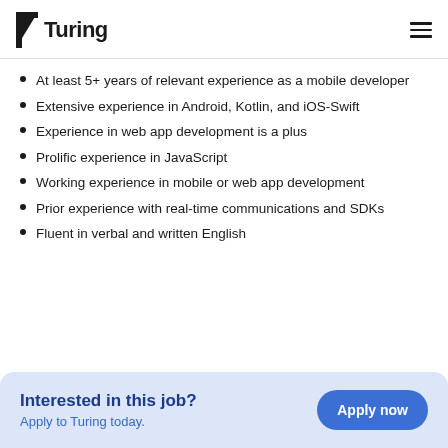Turing
At least 5+ years of relevant experience as a mobile developer
Extensive experience in Android, Kotlin, and iOS-Swift
Experience in web app development is a plus
Prolific experience in JavaScript
Working experience in mobile or web app development
Prior experience with real-time communications and SDKs
Fluent in verbal and written English
Interested in this job? Apply to Turing today. Apply now